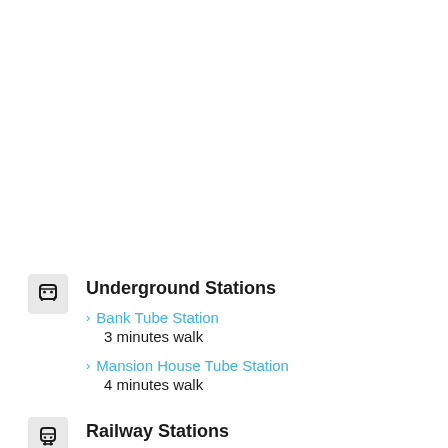Underground Stations
Bank Tube Station
3 minutes walk
Mansion House Tube Station
4 minutes walk
Railway Stations